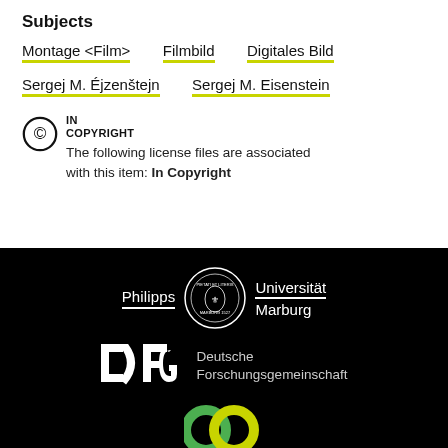Subjects
Montage <Film>
Filmbild
Digitales Bild
Sergej M. Éjzenštejn
Sergej M. Eisenstein
IN COPYRIGHT
The following license files are associated with this item: In Copyright
[Figure (logo): Philipps Universität Marburg seal/logo on black background]
[Figure (logo): DFG Deutsche Forschungsgemeinschaft logo on black background]
[Figure (logo): Open Access logo (green and yellow interlocking circles) on black background]